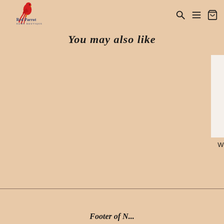Red Parrot Home Boutique — navigation header with search, menu, and cart icons
You may also like
[Figure (photo): Partially visible product card image on the right edge of the page]
W
Footer of the Red Parrot Home Boutique page, partially visible